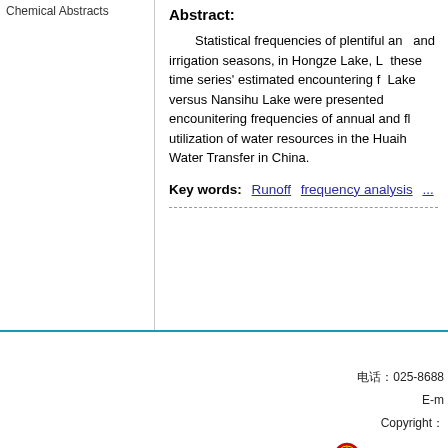Chemical Abstracts
Abstract:
Statistical frequencies of plentiful annual and irrigation seasons, in Hongze Lake, L... these time series' estimated encountering frequency, Lake versus Nansihu Lake were presented... encounitering frequencies of annual and flood... utilization of water resources in the Huaih... Water Transfer in China.
Key words:  Runoff  frequency analysis
电话：025-8688...  E-m...  Copyright：...
公安备 32...